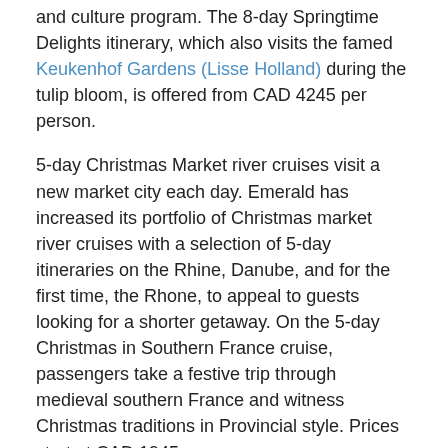and culture program. The 8-day Springtime Delights itinerary, which also visits the famed Keukenhof Gardens (Lisse Holland) during the tulip bloom, is offered from CAD 4245 per person.
5-day Christmas Market river cruises visit a new market city each day. Emerald has increased its portfolio of Christmas market river cruises with a selection of 5-day itineraries on the Rhine, Danube, and for the first time, the Rhone, to appeal to guests looking for a shorter getaway. On the 5-day Christmas in Southern France cruise, passengers take a festive trip through medieval southern France and witness Christmas traditions in Provincial style. Prices start at CAD 1945 per person.
Guests who book their 2022 European river journey by May 16, 2021, receive a savings of USD 3000 per couple, and those booking a suite on the Horizon Deck receive a EUR 150 OBC (onboard credit) per person.
Passengers who book by February 28, 2021, and pay in full 12 months in advance of departure date receive a Super Earlybird savings of an additional 10% off the cruise portion (doesn't apply to Category D-E-ES staterooms). All daily excursions, port charges,